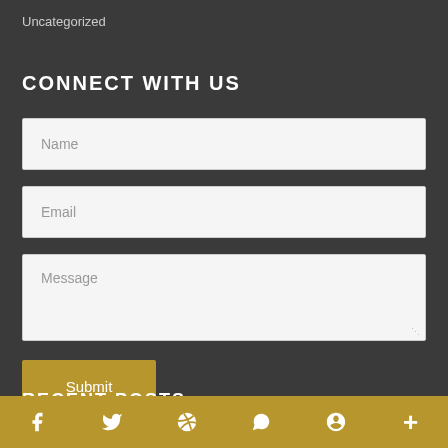Uncategorized
CONNECT WITH US
Name
Email
Message
Submit
RECENT POSTS
f  Twitter  Reddit  WhatsApp  Pinterest  +